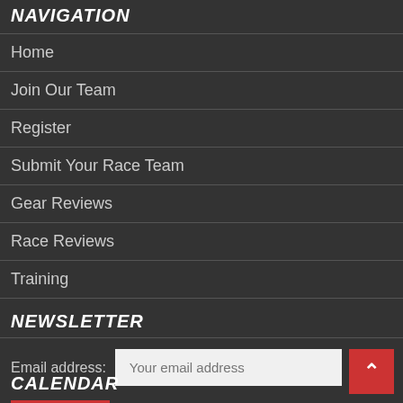NAVIGATION
Home
Join Our Team
Register
Submit Your Race Team
Gear Reviews
Race Reviews
Training
NEWSLETTER
Email address: Your email address
Sign up
CALENDAR